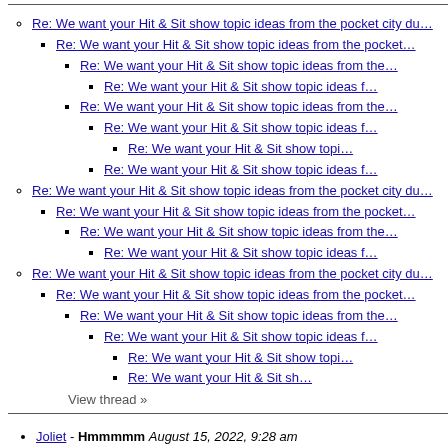Re: We want your Hit & Sit show topic ideas from the pocket city du…
Re: We want your Hit & Sit show topic ideas from the pocket…
Re: We want your Hit & Sit show topic ideas from the…
Re: We want your Hit & Sit show topic ideas f…
Re: We want your Hit & Sit show topic ideas from the…
Re: We want your Hit & Sit show topic ideas f…
Re: We want your Hit & Sit show topi…
Re: We want your Hit & Sit show topic ideas f…
Re: We want your Hit & Sit show topic ideas from the pocket city du…
Re: We want your Hit & Sit show topic ideas from the pocket…
Re: We want your Hit & Sit show topic ideas from the…
Re: We want your Hit & Sit show topic ideas f…
Re: We want your Hit & Sit show topic ideas from the pocket city du…
Re: We want your Hit & Sit show topic ideas from the pocket…
Re: We want your Hit & Sit show topic ideas from the…
Re: We want your Hit & Sit show topic ideas f…
Re: We want your Hit & Sit show topi…
Re: We want your Hit & Sit sh…
View thread »
Joliet - Hmmmmm August 15, 2022, 9:28 am
Re: Joliet - local August 15, 2022, 10:00 am
Re: Joliet - DW August 15, 2022, 10:02 am
Re: Joliet - Peter North August 15, 2022, 10:48 am
Re: Joliet - Jabroni17 August 16, 2022, 12:49 pm